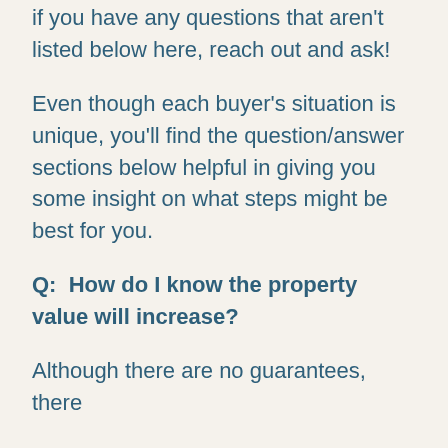if you have any questions that aren't listed below here, reach out and ask!
Even though each buyer's situation is unique, you'll find the question/answer sections below helpful in giving you some insight on what steps might be best for you.
Q:  How do I know the property value will increase?
Although there are no guarantees, there